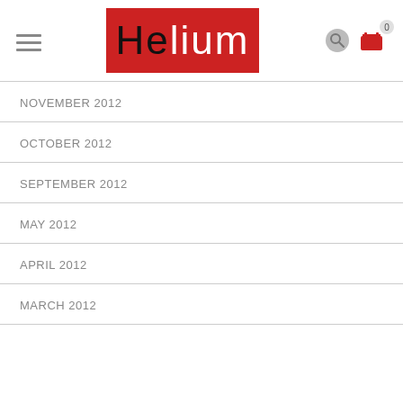Helium
NOVEMBER 2012
OCTOBER 2012
SEPTEMBER 2012
MAY 2012
APRIL 2012
MARCH 2012